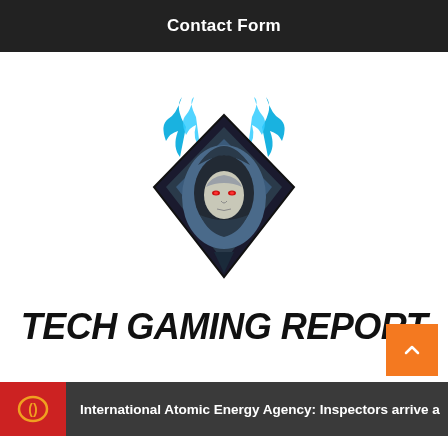Contact Form
[Figure (logo): Tech Gaming Report logo: hooded figure mascot with blue flames, geometric diamond shape, red glowing eyes, dark color scheme]
TECH GAMING REPORT
International Atomic Energy Agency: Inspectors arrive a